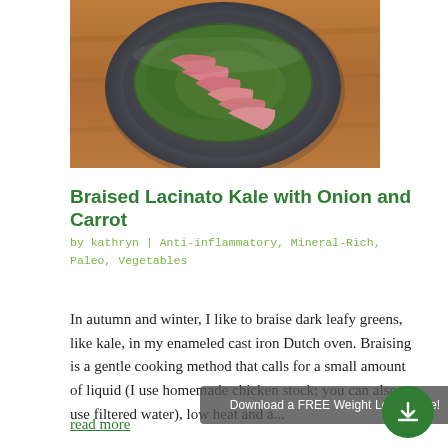[Figure (photo): Overhead photo of sliced braised meat on a dark plate garnished with green herbs, on a wooden table surface.]
Braised Lacinato Kale with Onion and Carrot
by kathryn | Anti-inflammatory, Mineral-Rich, Paleo, Vegetables
In autumn and winter, I like to braise dark leafy greens, like kale, in my enameled cast iron Dutch oven. Braising is a gentle cooking method that calls for a small amount of liquid (I use homemade chicken stock; you can also use filtered water), low heat and a...
read more